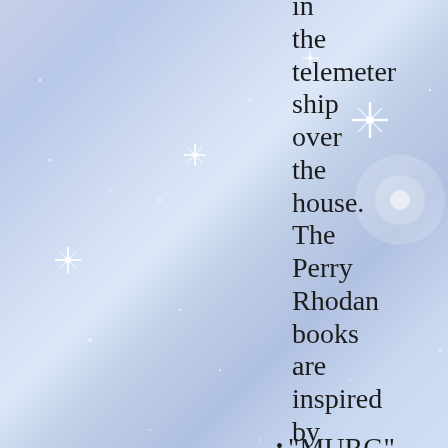[Figure (illustration): Starry sky background with blue-lavender gradient and bright star glints/sparkles scattered throughout]
in the telemeter ship over the house. The Perry Rhodan books are inspired by ETs.
"MURG" Billy hears a sound. He gets